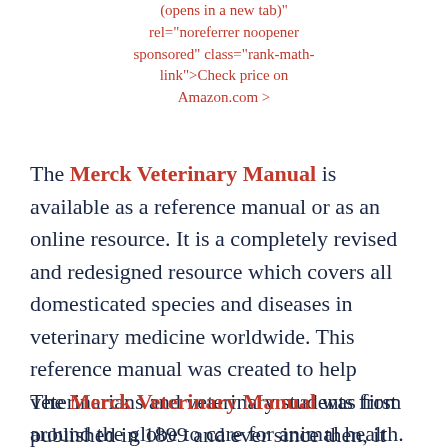(opens in a new tab)" rel="noreferrer noopener sponsored" class="rank-math-link">Check price on Amazon.com >
The Merck Veterinary Manual is available as a reference manual or as an online resource. It is a completely revised and redesigned resource which covers all domesticated species and diseases in veterinary medicine worldwide. This reference manual was created to help veterinarians and veterinary students from around the globe to care for animal health.
The Merck Veterinary Manual was first published in 1899 and ever since then, it has